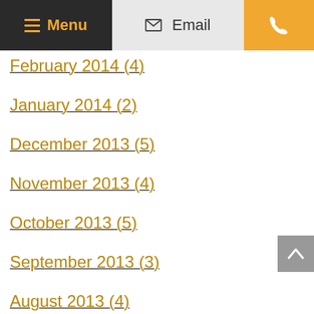Menu  Email  [Phone]
February 2014 (4)
January 2014 (2)
December 2013 (5)
November 2013 (4)
October 2013 (5)
September 2013 (3)
August 2013 (4)
July 2013 (6)